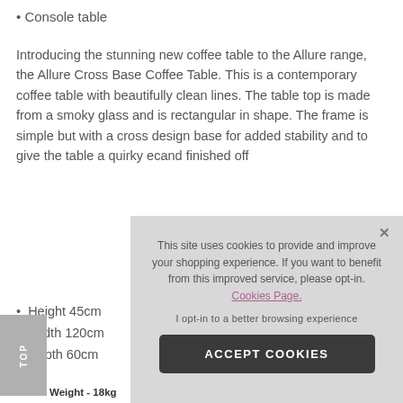Console table
Introducing the stunning new coffee table to the Allure range, the Allure Cross Base Coffee Table. This is a contemporary coffee table with beautifully clean lines. The table top is made from a smoky glass and is rectangular in shape. The frame is simple but with a cross design base for added stability and to give the table a quirky ec[...] and finished off[...]
Height 45cm
Width 120cm
Depth 60cm
Weight - 18kg
This site uses cookies to provide and improve your shopping experience. If you want to benefit from this improved service, please opt-in. Cookies Page. I opt-in to a better browsing experience ACCEPT COOKIES